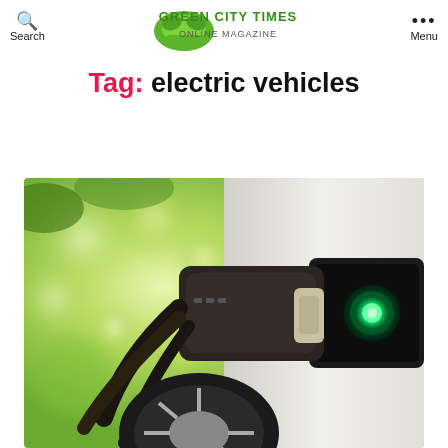Search | GREEN CITY TIMES ONLINE MAGAZINE | Menu
Tag: electric vehicles
[Figure (photo): Close-up photo of an electric vehicle charging connector plugged into a car's charging port with a green light, against a bokeh green tree background]